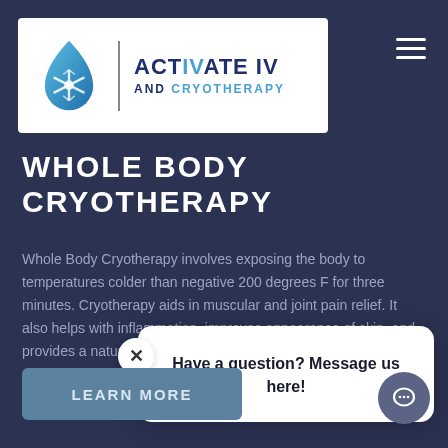[Figure (logo): Activate IV and Cryotherapy logo with snowflake/droplet icon]
WHOLE BODY CRYOTHERAPY
Whole Body Cryotherapy involves exposing the body to temperatures colder than negative 200 degrees F for three minutes. Cryotherapy aids in muscular and joint pain relief. It also helps with inflammation, improves appearance of skin, and provides a natural detox and energy boost.
Have a question? Message us here!
LEARN MORE